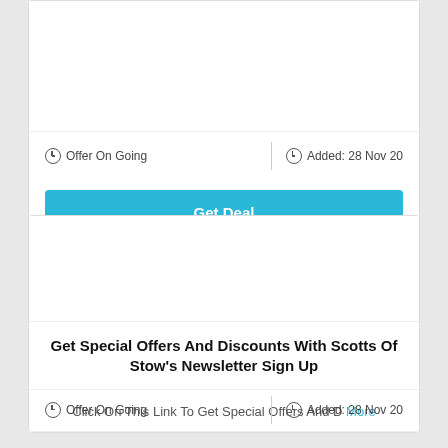Offer On Going   |   Added: 28 Nov 20
Get Deal
[Figure (other): White image area placeholder for product/offer image]
Get Special Offers And Discounts With Scotts Of Stow's Newsletter Sign Up
Click On This Link To Get Special Offers And D More
Offer On Going   |   Added: 28 Nov 20